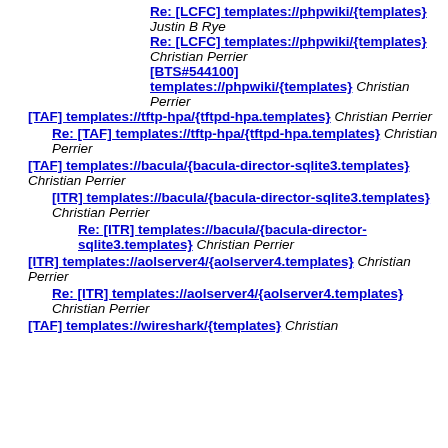Re: [LCFC] templates://phpwiki/{templates} Justin B Rye
Re: [LCFC] templates://phpwiki/{templates} Christian Perrier
[BTS#544100] templates://phpwiki/{templates} Christian Perrier
[TAF] templates://tftp-hpa/{tftpd-hpa.templates} Christian Perrier
Re: [TAF] templates://tftp-hpa/{tftpd-hpa.templates} Christian Perrier
[TAF] templates://bacula/{bacula-director-sqlite3.templates} Christian Perrier
[ITR] templates://bacula/{bacula-director-sqlite3.templates} Christian Perrier
Re: [ITR] templates://bacula/{bacula-director-sqlite3.templates} Christian Perrier
[ITR] templates://aolserver4/{aolserver4.templates} Christian Perrier
Re: [ITR] templates://aolserver4/{aolserver4.templates} Christian Perrier
[TAF] templates://wireshark/{templates} Christian